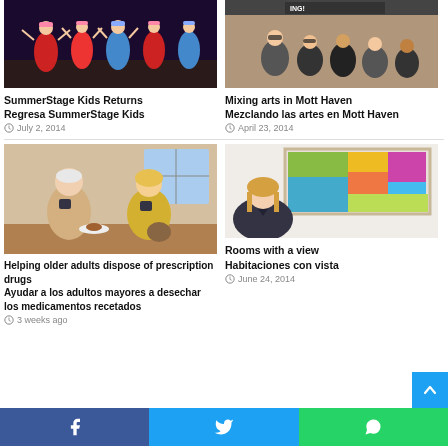[Figure (photo): Performers in traditional costumes dancing on stage]
SummerStage Kids Returns
Regresa SummerStage Kids
July 2, 2014
[Figure (photo): Group of young people posing in front of a brewing sign]
Mixing arts in Mott Haven
Mezclando las artes en Mott Haven
April 23, 2014
[Figure (photo): Two elderly people sitting at a table drinking coffee]
Helping older adults dispose of prescription drugs
Ayudar a los adultos mayores a desechar los medicamentos recetados
3 weeks ago
[Figure (photo): Woman standing in front of colorful modern artwork]
Rooms with a view
Habitaciones con vista
June 24, 2014